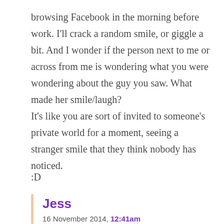browsing Facebook in the morning before work. I'll crack a random smile, or giggle a bit. And I wonder if the person next to me or across from me is wondering what you were wondering about the guy you saw. What made her smile/laugh?
It's like you are sort of invited to someone's private world for a moment, seeing a stranger smile that they think nobody has noticed.

:D
Jess
16 November 2014, 12:41am
Just one more comment – the pic that is